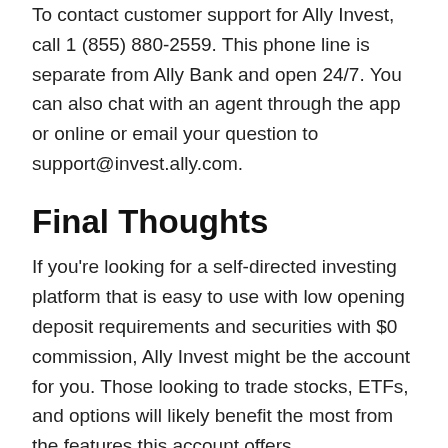To contact customer support for Ally Invest, call 1 (855) 880-2559. This phone line is separate from Ally Bank and open 24/7. You can also chat with an agent through the app or online or email your question to support@invest.ally.com.
Final Thoughts
If you're looking for a self-directed investing platform that is easy to use with low opening deposit requirements and securities with $0 commission, Ally Invest might be the account for you. Those looking to trade stocks, ETFs, and options will likely benefit the most from the features this account offers.
Since you can really start trading with as little as $1,